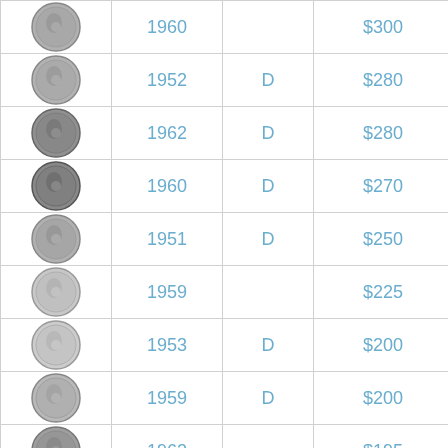| Image | Year | Mint | Price |
| --- | --- | --- | --- |
| [coin] | 1960 |  | $300 |
| [coin] | 1952 | D | $280 |
| [coin] | 1962 | D | $280 |
| [coin] | 1960 | D | $270 |
| [coin] | 1951 | D | $250 |
| [coin] | 1959 |  | $225 |
| [coin] | 1953 | D | $200 |
| [coin] | 1959 | D | $200 |
| [coin] | 1962 |  | $195 |